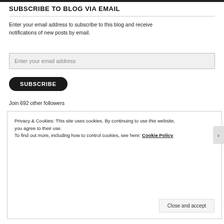SUBSCRIBE TO BLOG VIA EMAIL
Enter your email address to subscribe to this blog and receive notifications of new posts by email.
Enter your email address
SUBSCRIBE
Join 692 other followers
Privacy & Cookies: This site uses cookies. By continuing to use this website, you agree to their use.
To find out more, including how to control cookies, see here: Cookie Policy
Close and accept